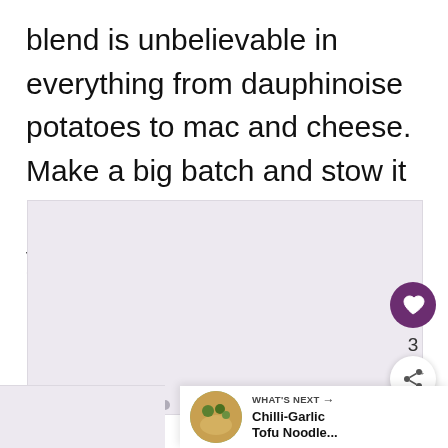blend is unbelievable in everything from dauphinoise potatoes to mac and cheese. Make a big batch and stow it away in an airtight jar to give your oven-baked dinners an instant flavour boost.
[Figure (photo): A light purple/grey image area placeholder for a food photo, with navigation dots below and social action buttons (heart/like and share) on the right side, plus a 'What's Next' banner showing Chilli-Garlic Tofu Noodle... with a thumbnail.]